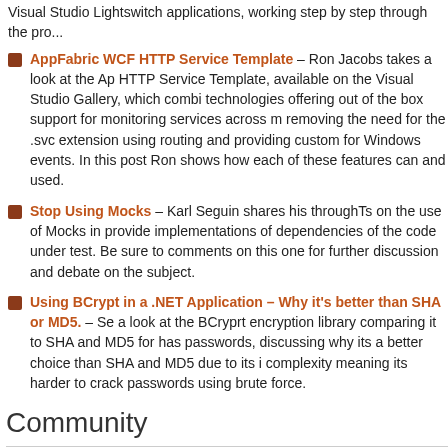Visual Studio Lightswitch applications, working step by step through the pro...
AppFabric WCF HTTP Service Template – Ron Jacobs takes a look at the AppFabric WCF HTTP Service Template, available on the Visual Studio Gallery, which combines technologies offering out of the box support for monitoring services across multiple, removing the need for the .svc extension using routing and providing custom for Windows events. In this post Ron shows how each of these features can and used.
Stop Using Mocks – Karl Seguin shares his throughTs on the use of Mocks in provide implementations of dependencies of the code under test. Be sure to comments on this one for further discussion and debate on the subject.
Using BCrypt in a .NET Application – Why it's better than SHA or MD5. – Ser a look at the BCryprt encryption library comparing it to SHA and MD5 for has passwords, discussing why its a better choice than SHA and MD5 due to its complexity meaning its harder to crack passwords using brute force.
Community
Don't forget to join us tomorrow for the WP7 Online Conference – Mike Ormo of the free virtual Windows Phone Online Conference being held today (Thur March) beginning at 3PM. If you want to attend (virtually) then registration is this two track 5.5 hour event
Streams of Streams – Your Rx Prescription with Ray Booysen – Canary Wha Group – Wednesday 6th April sees Ray Booysen join the Canary Wharf .NET for a session on the use of the Reactive Extensions for .NET looking at how how you can apply them in your code.